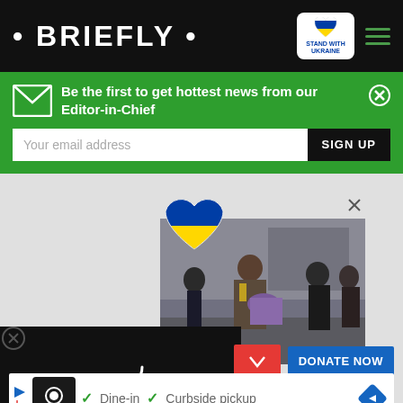• BRIEFLY •
[Figure (logo): Stand With Ukraine badge with blue-yellow heart]
Be the first to get hottest news from our Editor-in-Chief
Your email address
SIGN UP
[Figure (photo): People carrying injured person across destroyed bridge, Ukraine war scene with Ukrainian flag heart overlay and X close button]
[Figure (other): Black video loading area with circular spinner]
DONATE NOW
[Figure (infographic): Bottom advertisement banner: Dine-in, Curbside pickup with restaurant icon]